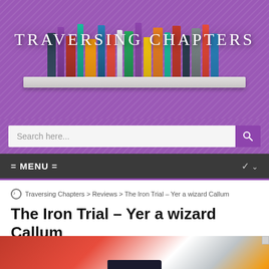[Figure (photo): Traversing Chapters blog header with bookshelf on purple textured background and site title text]
[Figure (screenshot): Search bar with placeholder text 'Search here...' and purple search button with magnifying glass icon on purple background]
= MENU =
Traversing Chapters > Reviews > The Iron Trial – Yer a wizard Callum
The Iron Trial – Yer a wizard Callum
[Figure (photo): Partial photo of a dark book with decorative cover held on a red and white fluffy surface]